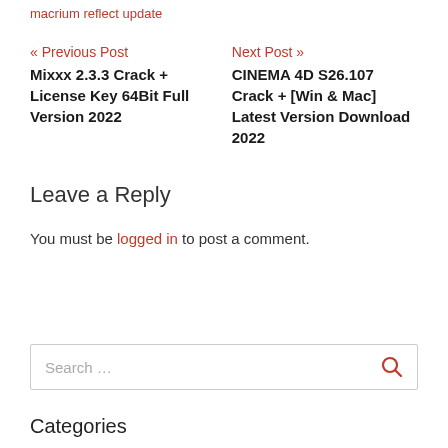macrium reflect update
« Previous Post
Mixxx 2.3.3 Crack + License Key 64Bit Full Version 2022
Next Post »
CINEMA 4D S26.107 Crack + [Win & Mac] Latest Version Download 2022
Leave a Reply
You must be logged in to post a comment.
Search …
Categories